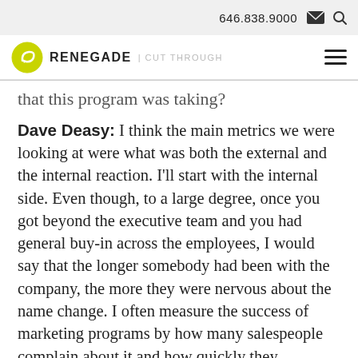646.838.9000
RENEGADE | CUT THROUGH
that this program was taking?
Dave Deasy: I think the main metrics we were looking at were what was both the external and the internal reaction. I'll start with the internal side. Even though, to a large degree, once you got beyond the executive team and you had general buy-in across the employees, I would say that the longer somebody had been with the company, the more they were nervous about the name change. I often measure the success of marketing programs by how many salespeople complain about it and how quickly they complain. This is probably one of the few programs that I've ever...